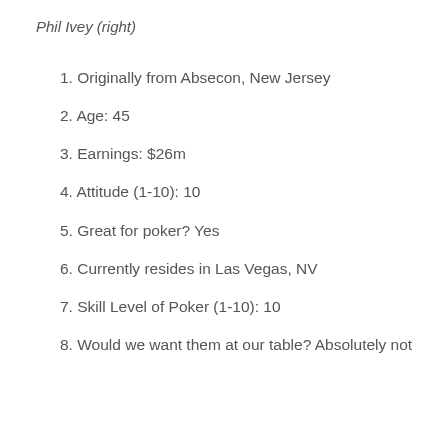Phil Ivey (right)
1. Originally from Absecon, New Jersey
2. Age: 45
3. Earnings: $26m
4. Attitude (1-10): 10
5. Great for poker? Yes
6. Currently resides in Las Vegas, NV
7. Skill Level of Poker (1-10): 10
8. Would we want them at our table? Absolutely not